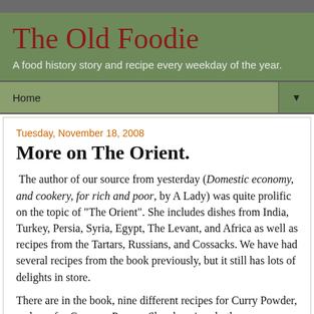The Old Foodie
A food history story and recipe every weekday of the year.
Home
Tuesday, November 18, 2008
More on The Orient.
The author of our source from yesterday (Domestic economy, and cookery, for rich and poor, by A Lady) was quite prolific on the topic of “The Orient”. She includes dishes from India, Turkey, Persia, Syria, Egypt, The Levant, and Africa as well as recipes from the Tartars, Russians, and Cossacks. We have had several recipes from the book previously, but it still has lots of delights in store.
There are in the book, nine different recipes for Curry Powder, and one for Cayenne Pepper. She also gives both